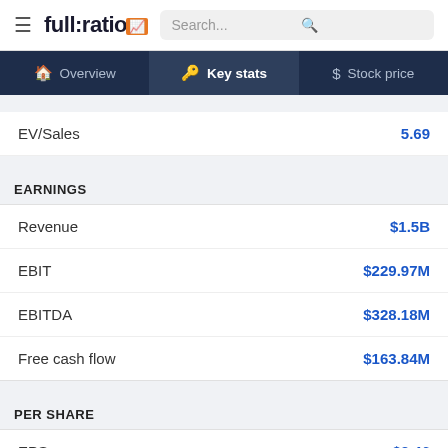full:ratio | Search... | Overview | Key stats | Stock price
| Metric | Value |
| --- | --- |
| EV/Sales | 5.69 |
EARNINGS
| Metric | Value |
| --- | --- |
| Revenue | $1.5B |
| EBIT | $229.97M |
| EBITDA | $328.18M |
| Free cash flow | $163.84M |
PER SHARE
| Metric | Value |
| --- | --- |
| EPS | $3.46 |
| Free cash flow per share | $3.04 |